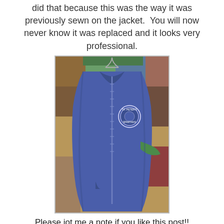did that because this was the way it was previously sewn on the jacket.  You will now never know it was replaced and it looks very professional.
[Figure (photo): A blue zip-up fleece jacket with a St. Peter's Spartans logo embroidered on the chest, hanging on a hanger, laid on a colorful quilt background.]
Please jot me a note if you like this post!!